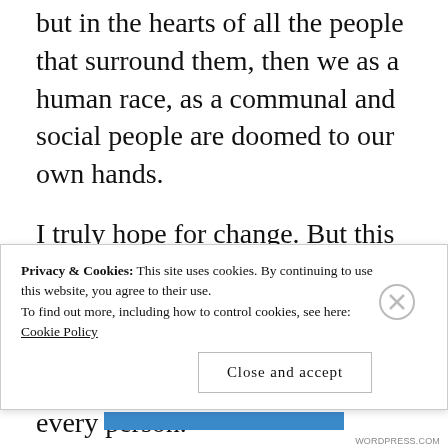but in the hearts of all the people that surround them, then we as a human race, as a communal and social people are doomed to our own hands.
I truly hope for change. But this change is one that requires a change of heart, and of consciousness. It is a change that must begin within each and every person.
Maybe one day, we'll all look at our own
Privacy & Cookies: This site uses cookies. By continuing to use this website, you agree to their use. To find out more, including how to control cookies, see here: Cookie Policy
Close and accept
WORDPRESS.COM